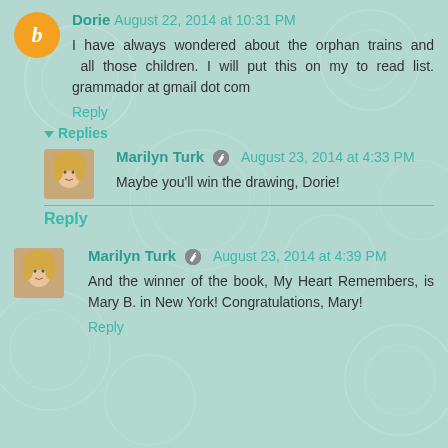Dorie August 22, 2014 at 10:31 PM
I have always wondered about the orphan trains and all those children. I will put this on my to read list. grammador at gmail dot com
Reply
Replies
Marilyn Turk August 23, 2014 at 4:33 PM
Maybe you'll win the drawing, Dorie!
Reply
Marilyn Turk August 23, 2014 at 4:39 PM
And the winner of the book, My Heart Remembers, is Mary B. in New York! Congratulations, Mary!
Reply